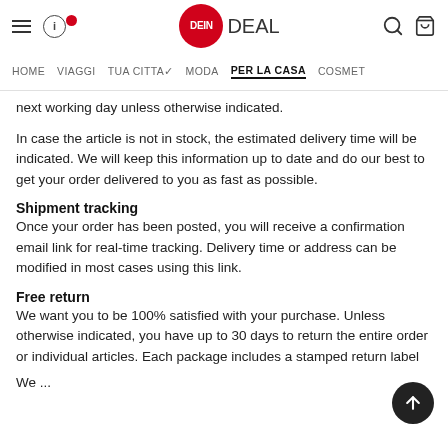DeinDeal — HOME  VIAGGI  TUA CITTA  MODA  PER LA CASA  COSMET
next working day unless otherwise indicated.
In case the article is not in stock, the estimated delivery time will be indicated. We will keep this information up to date and do our best to get your order delivered to you as fast as possible.
Shipment tracking
Once your order has been posted, you will receive a confirmation email link for real-time tracking. Delivery time or address can be modified in most cases using this link.
Free return
We want you to be 100% satisfied with your purchase. Unless otherwise indicated, you have up to 30 days to return the entire order or individual articles. Each package includes a stamped return label
We ...